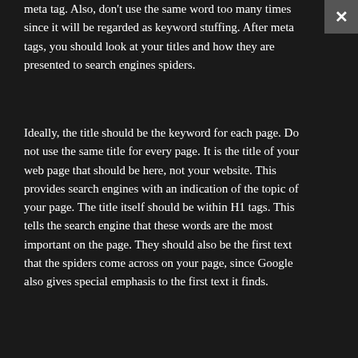meta tag. Also, don't use the same word too many times since it will be regarded as keyword stuffing. After meta tags, you should look at your titles and how they are presented to search engines spiders.
Ideally, the title should be the keyword for each page. Do not use the same title for every page. It is the title of your web page that should be here, not your website. This provides search engines with an indication of the topic of your page. The title itself should be within H1 tags. This tells the search engine that these words are the most important on the page. They should also be the first text that the spiders come across on your page, since Google also gives special emphasis to the first text it finds.